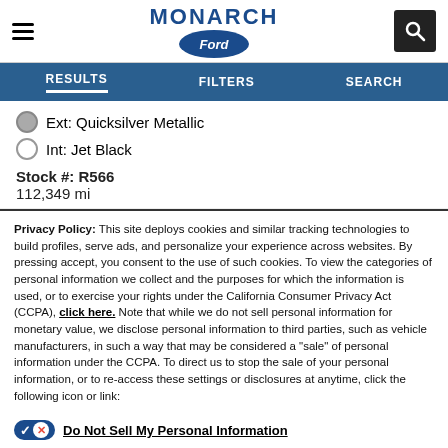[Figure (logo): Monarch Ford logo with hamburger menu icon on left and search icon on right]
RESULTS   FILTERS   SEARCH
Ext: Quicksilver Metallic
Int: Jet Black
Stock #: R566
112,349 mi
Privacy Policy: This site deploys cookies and similar tracking technologies to build profiles, serve ads, and personalize your experience across websites. By pressing accept, you consent to the use of such cookies. To view the categories of personal information we collect and the purposes for which the information is used, or to exercise your rights under the California Consumer Privacy Act (CCPA), click here. Note that while we do not sell personal information for monetary value, we disclose personal information to third parties, such as vehicle manufacturers, in such a way that may be considered a "sale" of personal information under the CCPA. To direct us to stop the sale of your personal information, or to re-access these settings or disclosures at anytime, click the following icon or link:
Do Not Sell My Personal Information
Language: English    Powered by ComplyAuto
Accept and Continue →   California Privacy Disclosures